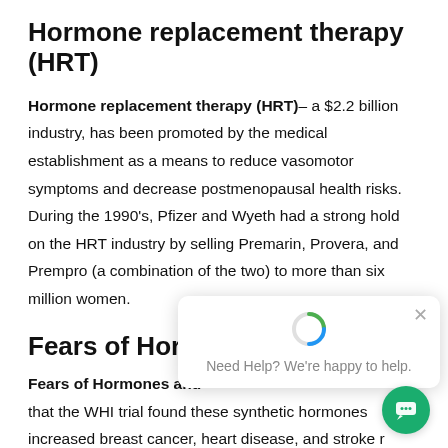Hormone replacement therapy (HRT)
Hormone replacement therapy (HRT)– a $2.2 billion industry, has been promoted by the medical establishment as a means to reduce vasomotor symptoms and decrease postmenopausal health risks. During the 1990's, Pfizer and Wyeth had a strong hold on the HRT industry by selling Premarin, Provera, and Prempro (a combination of the two) to more than six million women.
Fears of Hormones and...
Fears of Hormones and...
that the WHI trial found these synthetic hormones increased breast cancer, heart disease, and stroke risks among menopausal women. Researchers admonished